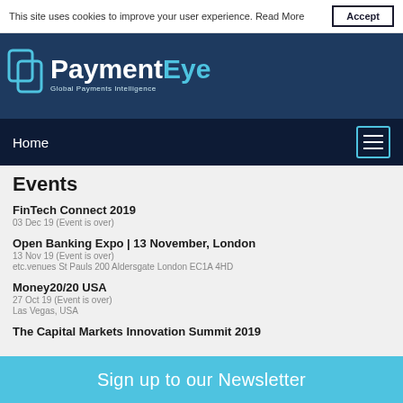This site uses cookies to improve your user experience. Read More
[Figure (logo): PaymentEye logo with icon and tagline 'Global Payments Intelligence' on dark blue background]
Home
Events
FinTech Connect 2019
03 Dec 19 (Event is over)
Open Banking Expo | 13 November, London
13 Nov 19 (Event is over)
etc.venues St Pauls 200 Aldersgate London EC1A 4HD
Money20/20 USA
27 Oct 19 (Event is over)
Las Vegas, USA
The Capital Markets Innovation Summit 2019
Sign up to our Newsletter